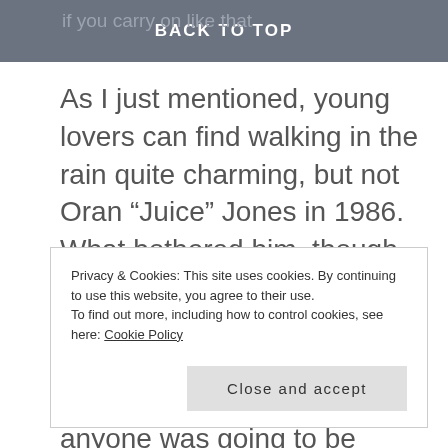if you carry on like that
BACK TO TOP
As I just mentioned, young lovers can find walking in the rain quite charming, but not Oran “Juice” Jones in 1986. What bothered him, though, was that his girlfriend was walking in the rain with someone else – holding the guy’s hand, no less – and if anyone was going to be
Privacy & Cookies: This site uses cookies. By continuing to use this website, you agree to their use.
To find out more, including how to control cookies, see here: Cookie Policy
Close and accept